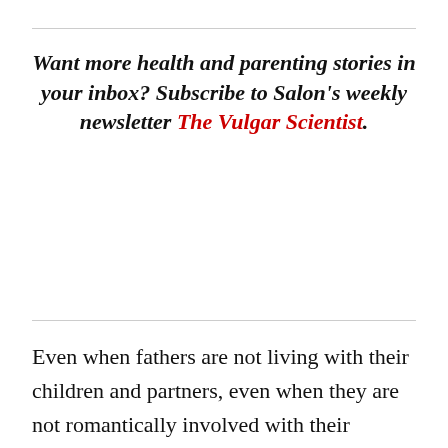Want more health and parenting stories in your inbox? Subscribe to Salon's weekly newsletter The Vulgar Scientist.
Even when fathers are not living with their children and partners, even when they are not romantically involved with their children's mothers, even when their relationship with their children's mother is fraught, fathers told us they want to be there for their children "each and every step [of the way]." Mothers, too, told us that this is what they wanted – to be an effective team, to communicate and resolve conflict constructively, and for fathers to remain active in their